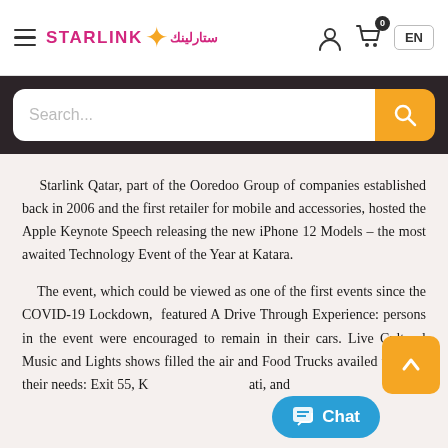STARLINK ستارلينك — EN
Search...
Starlink Qatar, part of the Ooredoo Group of companies established back in 2006 and the first retailer for mobile and accessories, hosted the Apple Keynote Speech releasing the new iPhone 12 Models – the most awaited Technology Event of the Year at Katara.
The event, which could be viewed as one of the first events since the COVID-19 Lockdown,  featured A Drive Through Experience: persons in the event were encouraged to remain in their cars. Live Cultural Music and Lights shows filled the air and Food Trucks availed to serve their needs: Exit 55, Katara's Majlis Regati, and